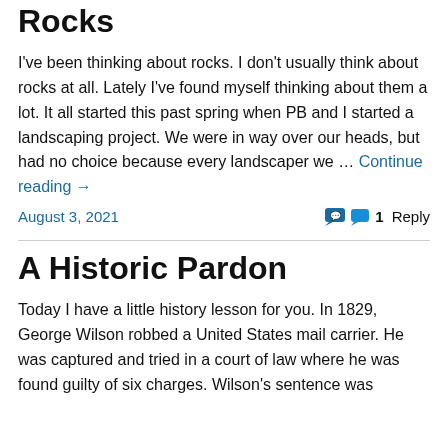Rocks
I've been thinking about rocks. I don't usually think about rocks at all. Lately I've found myself thinking about them a lot. It all started this past spring when PB and I started a landscaping project. We were in way over our heads, but had no choice because every landscaper we … Continue reading →
August 3, 2021   1 Reply
A Historic Pardon
Today I have a little history lesson for you. In 1829, George Wilson robbed a United States mail carrier. He was captured and tried in a court of law where he was found guilty of six charges. Wilson's sentence was